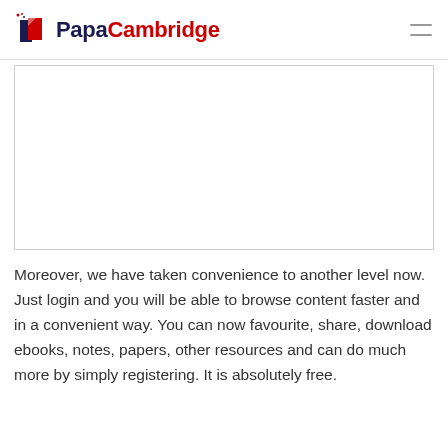PapaCambridge
[Figure (other): White rectangular content area with border, representing embedded content or image placeholder]
Moreover, we have taken convenience to another level now. Just login and you will be able to browse content faster and in a convenient way. You can now favourite, share, download ebooks, notes, papers, other resources and can do much more by simply registering. It is absolutely free.